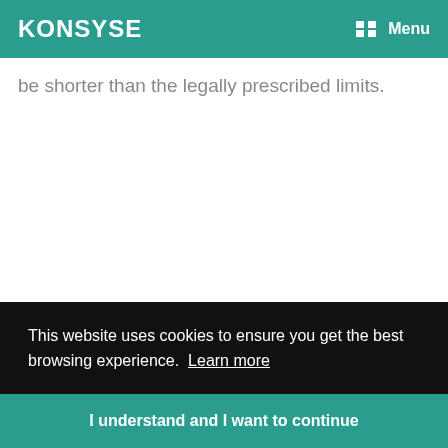KONSYSE  Menu
be shorter than the legally prescribed limits.
This website uses cookies to ensure you get the best browsing experience.  Learn more
I understand and I want to continue